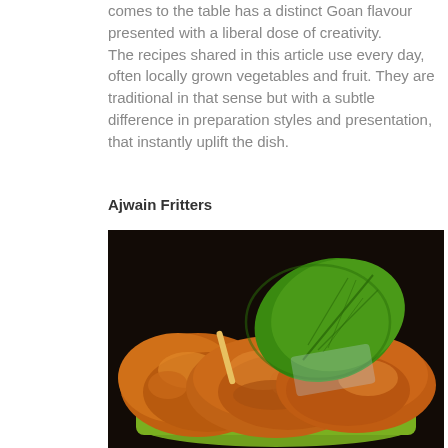comes to the table has a distinct Goan flavour presented with a liberal dose of creativity. The recipes shared in this article use every day, often locally grown vegetables and fruit. They are traditional in that sense but with a subtle difference in preparation styles and presentation, that instantly uplift the dish.
Ajwain Fritters
[Figure (photo): Photo of golden-brown Ajwain fritters served on a green plate, garnished with a large green leaf (ajwain/carom plant leaf) against a dark background.]